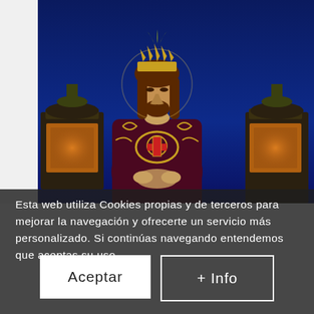[Figure (photo): Religious procession statue of Jesus Christ wearing a crown and purple/gold robes, photographed at night against a deep blue sky with lanterns visible on either side]
Esta web utiliza Cookies propias y de terceros para mejorar la navegación y ofrecerte un servicio más personalizado. Si continúas navegando entendemos que aceptas su uso.